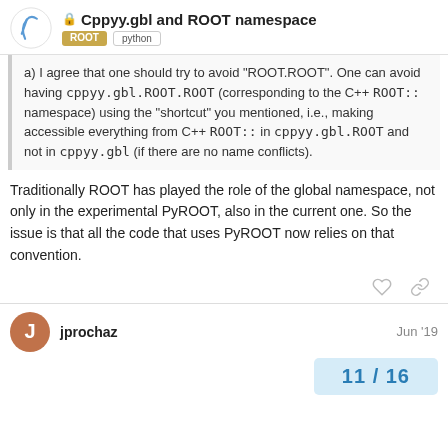🔒 Cppyy.gbl and ROOT namespace | ROOT python
a) I agree that one should try to avoid "ROOT.ROOT". One can avoid having cppyy.gbl.ROOT.ROOT (corresponding to the C++ ROOT:: namespace) using the "shortcut" you mentioned, i.e., making accessible everything from C++ ROOT:: in cppyy.gbl.ROOT and not in cppyy.gbl (if there are no name conflicts).
Traditionally ROOT has played the role of the global namespace, not only in the experimental PyROOT, also in the current one. So the issue is that all the code that uses PyROOT now relies on that convention.
jprochaz  Jun '19
11 / 16